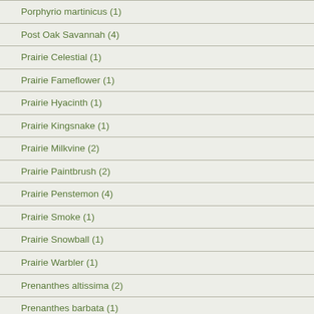Porphyrio martinicus (1)
Post Oak Savannah (4)
Prairie Celestial (1)
Prairie Fameflower (1)
Prairie Hyacinth (1)
Prairie Kingsnake (1)
Prairie Milkvine (2)
Prairie Paintbrush (2)
Prairie Penstemon (4)
Prairie Smoke (1)
Prairie Snowball (1)
Prairie Warbler (1)
Prenanthes altissima (2)
Prenanthes barbata (1)
Primrose-leaved Violet (1)